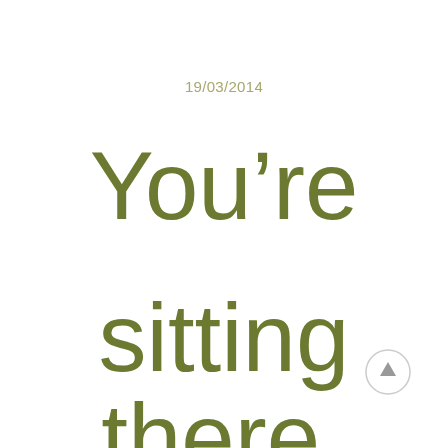19/03/2014
You're sitting there,
[Figure (illustration): A circular scroll-to-top button with an upward arrow, light gray outline circle with gray arrow icon]